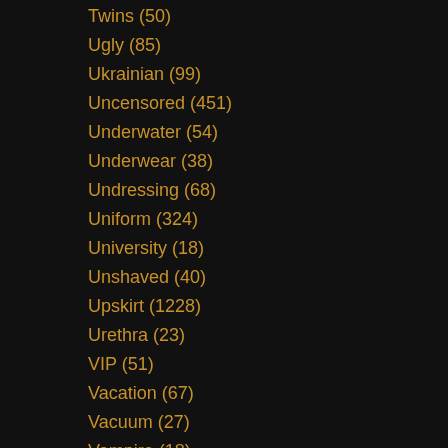Twins (50)
Ugly (85)
Ukrainian (99)
Uncensored (451)
Underwater (54)
Underwear (38)
Undressing (68)
Uniform (324)
University (18)
Unshaved (40)
Upskirt (1228)
Urethra (23)
VIP (51)
Vacation (67)
Vacuum (27)
Vampire (18)